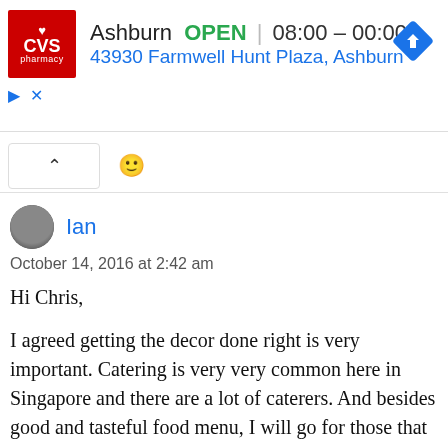[Figure (screenshot): CVS Pharmacy ad banner showing Ashburn location OPEN 08:00 – 00:00 at 43930 Farmwell Hunt Plaza, Ashburn with navigation arrow icon]
Ian
October 14, 2016 at 2:42 am
Hi Chris,
I agreed getting the decor done right is very important. Catering is very very common here in Singapore and there are a lot of caterers. And besides good and tasteful food menu, I will go for those that goes the exact mile to provide an